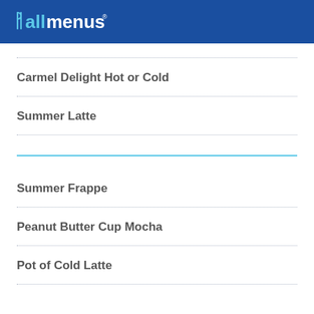allmenus
Carmel Delight Hot or Cold
Summer Latte
Summer Frappe
Peanut Butter Cup Mocha
Pot of Cold Latte